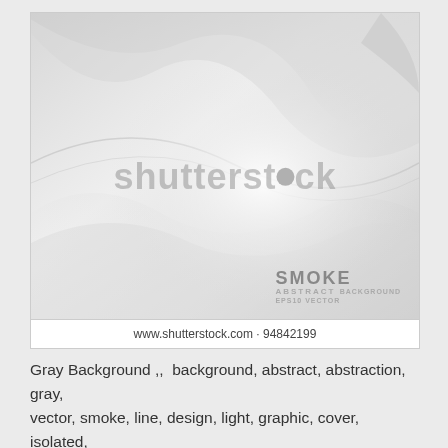[Figure (illustration): Abstract smoke/wave background image in gray and white tones with Shutterstock watermark and 'SMOKE ABSTRACT BACKGROUND EPS10 VECTOR' label. URL bar at bottom: www.shutterstock.com · 94842199]
Gray Background ,,  background, abstract, abstraction, gray, vector, smoke, line, design, light, graphic, cover, isolated, wallpaper, decoration, generated, copy, liquid, flow, blank,